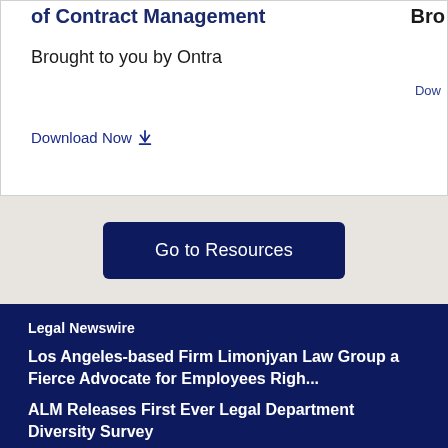of Contract Management
Brought to you by Ontra
Download Now
[Figure (other): Go to Resources button on a light beige/grey background]
Legal Newswire
Los Angeles-based Firm Limonjyan Law Group a Fierce Advocate for Employees Righ...
ALM Releases First Ever Legal Department Diversity Survey